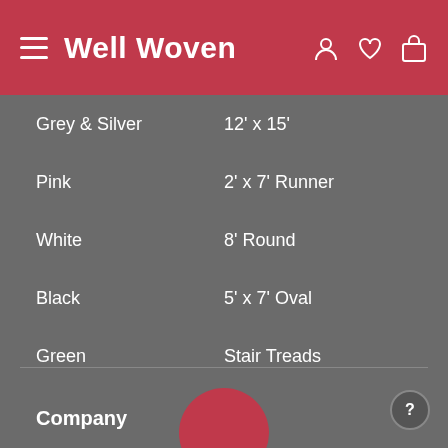Well Woven
Grey & Silver | 12' x 15'
Pink | 2' x 7' Runner
White | 8' Round
Black | 5' x 7' Oval
Green | Stair Treads
Company
About Us
Corporate
Privacy Policy